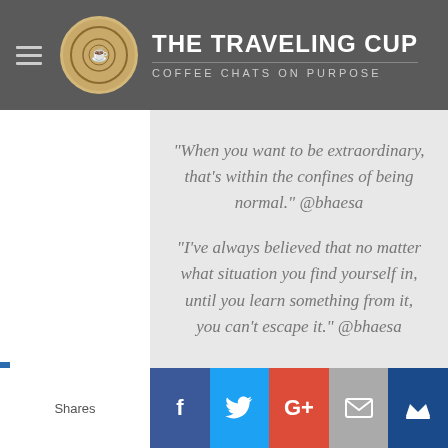THE TRAVELING CUP — COFFEE CHATS ON PURPOSE
“When you want to be extraordinary, that’s within the confines of being normal.” @bhaesa
“I’ve always believed that no matter what situation you find yourself in, until you learn something from it, you can’t escape it.” @bhaesa
Shares | Facebook | Twitter | Google+ | Email | Crown